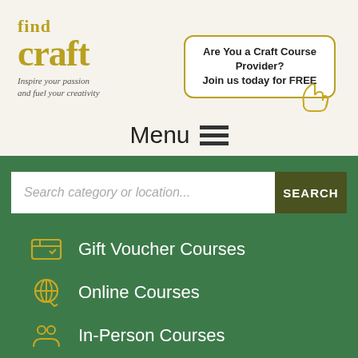[Figure (logo): FindCraft logo with tagline 'Inspire your passion and fuel your creativity']
Are You a Craft Course Provider?
Join us today for FREE
Menu
Search category or location...
SEARCH
Gift Voucher Courses
Online Courses
In-Person Courses
All Craft Courses